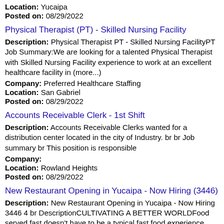Location: Yucaipa
Posted on: 08/29/2022
Physical Therapist (PT) - Skilled Nursing Facility
Description: Physical Therapist PT - Skilled Nursing FacilityPT Job Summary:We are looking for a talented Physical Therapist with Skilled Nursing Facility experience to work at an excellent healthcare facility in (more...)
Company: Preferred Healthcare Staffing
Location: San Gabriel
Posted on: 08/29/2022
Accounts Receivable Clerk - 1st Shift
Description: Accounts Receivable Clerks wanted for a distribution center located in the city of Industry. br br Job summary br This position is responsible
Company:
Location: Rowland Heights
Posted on: 08/29/2022
New Restaurant Opening in Yucaipa - Now Hiring (3446)
Description: New Restaurant Opening in Yucaipa - Now Hiring 3446 4 br DescriptionCULTIVATING A BETTER WORLDFood served fast doesn't have to be a typical fast food experience. Chipotle has always